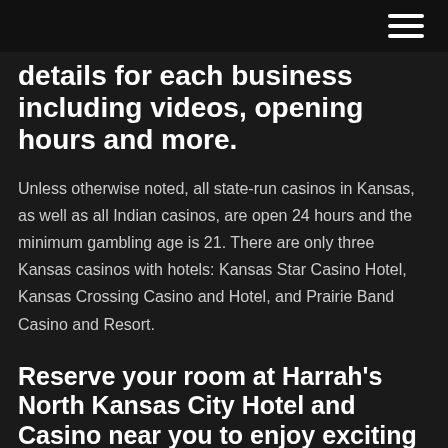details for each business including videos, opening hours and more.
Unless otherwise noted, all state-run casinos in Kansas, as well as all Indian casinos, are open 24 hours and the minimum gambling age is 21. There are only three Kansas casinos with hotels: Kansas Star Casino Hotel, Kansas Crossing Casino and Hotel, and Prairie Band Casino and Resort.
Reserve your room at Harrah's North Kansas City Hotel and Casino near you to enjoy exciting restaurants, nightlife, entertainment and gaming.
All Candlewood Suites Hotels in Kearney, MO ($49+) -